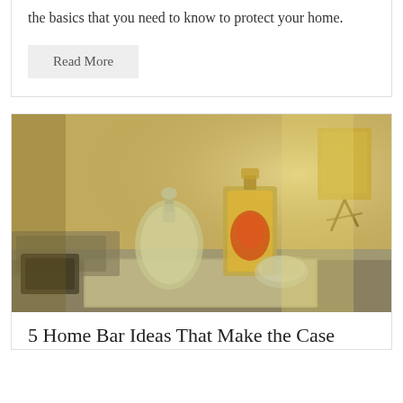the basics that you need to know to protect your home.
Read More
[Figure (photo): A home bar setup on a sideboard featuring two crystal decanters (one clear, one with amber liquid), crystal glasses on a mirrored tray, and decorative items in the background against a warm yellow-beige wall.]
5 Home Bar Ideas That Make the Case